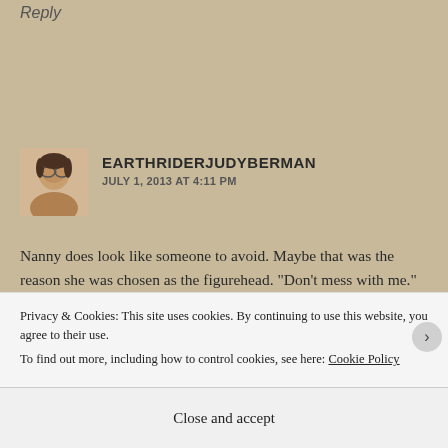Reply
EARTHRIDERJUDYBERMAN
JULY 1, 2013 AT 4:11 PM
Nanny does look like someone to avoid. Maybe that was the reason she was chosen as the figurehead. “Don’t mess with me.” Thanks for sharing, Kate
Privacy & Cookies: This site uses cookies. By continuing to use this website, you agree to their use.
To find out more, including how to control cookies, see here: Cookie Policy
Close and accept